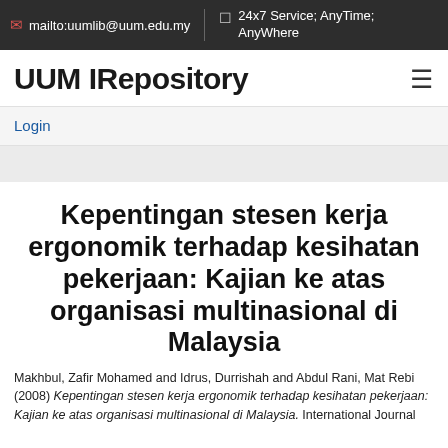mailto:uumlib@uum.edu.my  |  24x7 Service; AnyTime; AnyWhere
UUM IRepository
Login
Kepentingan stesen kerja ergonomik terhadap kesihatan pekerjaan: Kajian ke atas organisasi multinasional di Malaysia
Makhbul, Zafir Mohamed and Idrus, Durrishah and Abdul Rani, Mat Rebi (2008) Kepentingan stesen kerja ergonomik terhadap kesihatan pekerjaan: Kajian ke atas organisasi multinasional di Malaysia. International Journal